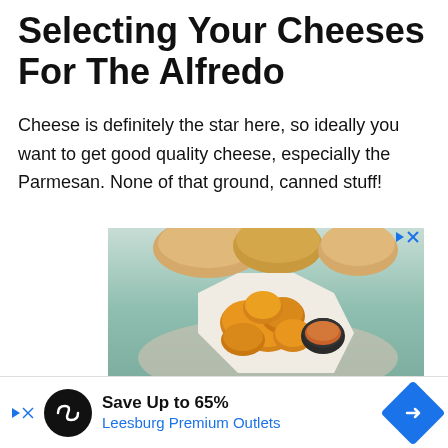Selecting Your Cheeses For The Alfredo
Cheese is definitely the star here, so ideally you want to get good quality cheese, especially the Parmesan. None of that ground, canned stuff!
[Figure (photo): Advertisement showing a plate of fried chicken nuggets with dipping sauce and bread rolls on a teal background. Below the food image is a section showing 'Ordena Aqui' with an orange icon, and 'Pollo Campero' in a second row.]
[Figure (infographic): Bottom banner advertisement: black circle icon with infinity-like symbol, text 'Save Up to 65%' in bold and 'Leesburg Premium Outlets' in blue, with a blue diamond-shaped arrow icon on the right. Small play and X controls on the left.]